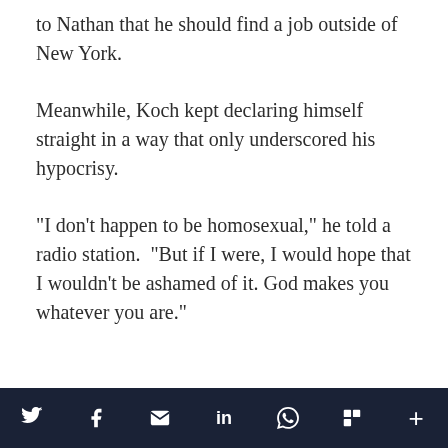to Nathan that he should find a job outside of New York.
Meanwhile, Koch kept declaring himself straight in a way that only underscored his hypocrisy.
“I don’t happen to be homosexual,” he told a radio station. “But if I were, I would hope that I wouldn’t be ashamed of it. God makes you whatever you are.”
Social share bar: Twitter, Facebook, Email, LinkedIn, WhatsApp, Flipboard, More